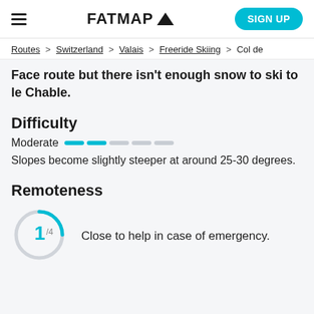FATMAP (logo) | SIGN UP
Routes > Switzerland > Valais > Freeride Skiing > Col de
Face route but there isn't enough snow to ski to le Chable.
Difficulty
Moderate [2 filled bars, 3 empty bars] Slopes become slightly steeper at around 25-30 degrees.
Remoteness
[Figure (infographic): Circle gauge showing 1/4 remoteness score with cyan arc]
Close to help in case of emergency.